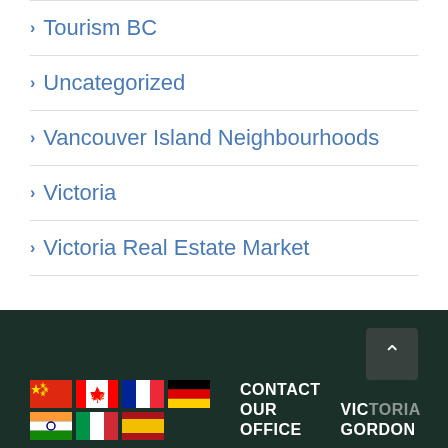Tourism BC
Uncategorized
Vancouver Island Neighbourhoods
Victoria
Victoria Real Estate Market
CONTACT OUR OFFICE | VICTORIA GORDON